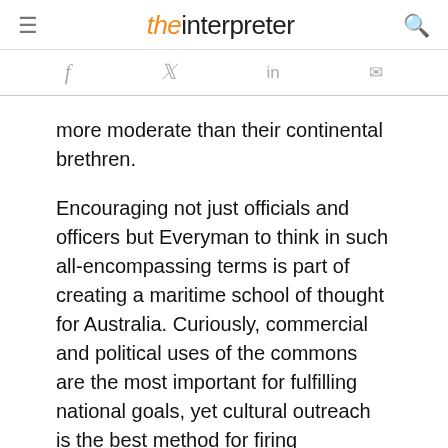the interpreter
more moderate than their continental brethren.
Encouraging not just officials and officers but Everyman to think in such all-encompassing terms is part of creating a maritime school of thought for Australia. Curiously, commercial and political uses of the commons are the most important for fulfilling national goals, yet cultural outreach is the best method for firing Everyman's enthusiasm for seaborne endeavours.
Australians could profitably investigate Henry Steele Commager's work on how founding